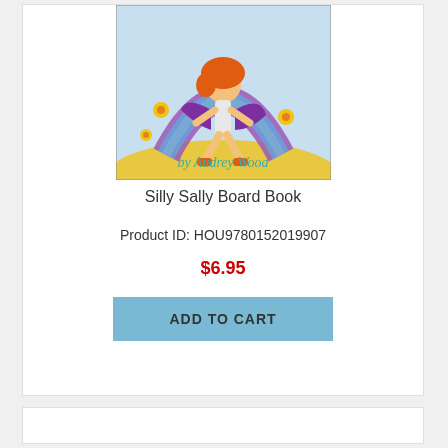[Figure (illustration): Book cover of 'Silly Sally' board book by Audrey Wood, showing a red-haired girl doing a handstand over a rainbow, with yellow flowers, against a light blue sky background, with author name 'by Audrey Wood' in teal cursive letters]
Silly Sally Board Book
Product ID: HOU9780152019907
$6.95
ADD TO CART